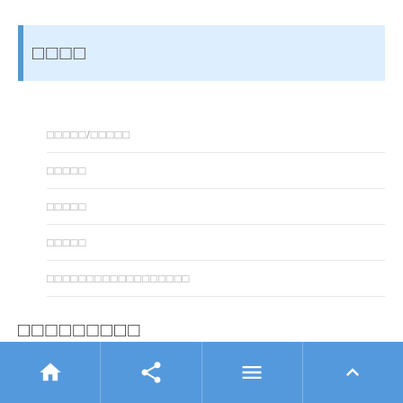□□□□
□□□□□/□□□□□
□□□□□
□□□□□
□□□□□
□□□□□□□□□□□□□□□□□□
□□□□□□□□□
home share menu top